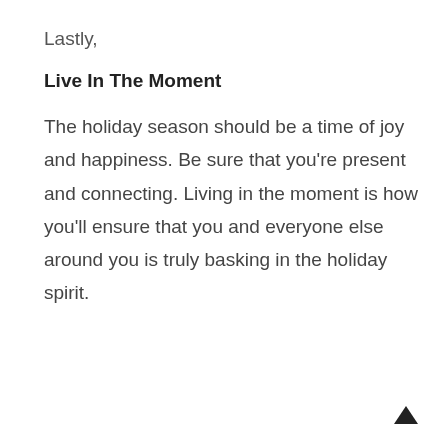Lastly,
Live In The Moment
The holiday season should be a time of joy and happiness. Be sure that you're present and connecting. Living in the moment is how you'll ensure that you and everyone else around you is truly basking in the holiday spirit.